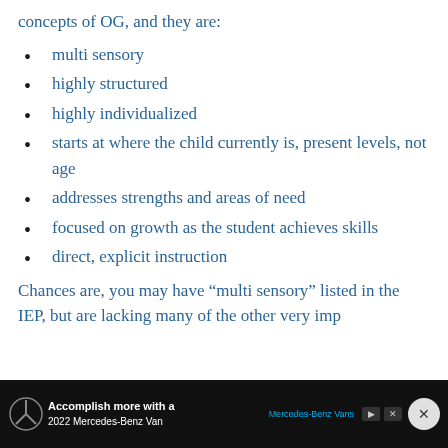concepts of OG, and they are:
multi sensory
highly structured
highly individualized
starts at where the child currently is, present levels, not age
addresses strengths and areas of need
focused on growth as the student achieves skills
direct, explicit instruction
Chances are, you may have “multi sensory” listed in the IEP, but are lacking many of the other very imp[ortant]